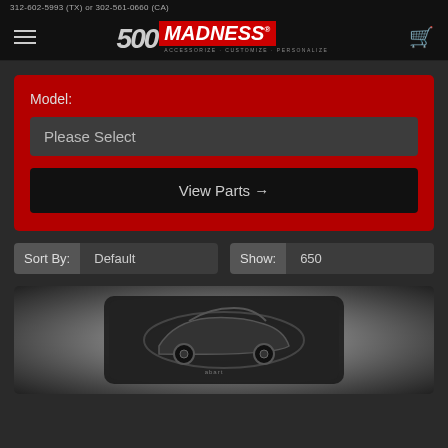312-602-5993 (TX) or 302-561-0660 (CA)
[Figure (logo): 500 MADNESS logo with hamburger menu and cart icon in dark navigation bar]
Model:
Please Select
View Parts →
Sort By: Default
Show: 650
[Figure (photo): Close-up black and white photo of a black leather key fob with embossed Fiat 500 Abarth car relief design]